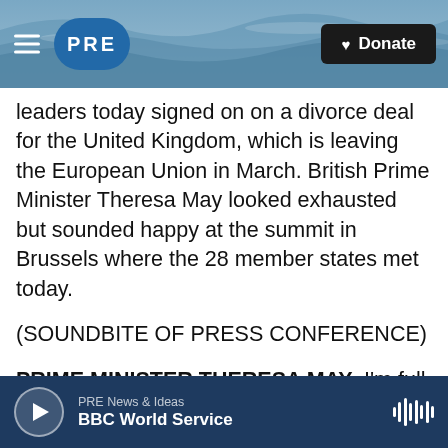PRE | Donate
leaders today signed on on a divorce deal for the United Kingdom, which is leaving the European Union in March. British Prime Minister Theresa May looked exhausted but sounded happy at the summit in Brussels where the 28 member states met today.
(SOUNDBITE OF PRESS CONFERENCE)
PRIME MINISTER THERESA MAY: I'm full of optimism about the future of our country. And I believe that we can - with this good deal with the European Union, we will remain friends and neighbors. I've said many times we're leaving the
PRE News & Ideas | BBC World Service